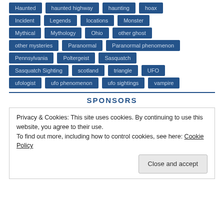Haunted
haunted highway
haunting
hoax
Incident
Legends
locations
Monster
Mythical
Mythology
Ohio
other ghost
other mysteries
Paranormal
Paranormal phenomenon
Pennsylvania
Poltergeist
Sasquatch
Sasquatch Sighting
scotland
triangle
UFO
ufologist
ufo phenomenon
ufo sightings
vampire
SPONSORS
Privacy & Cookies: This site uses cookies. By continuing to use this website, you agree to their use.
To find out more, including how to control cookies, see here: Cookie Policy